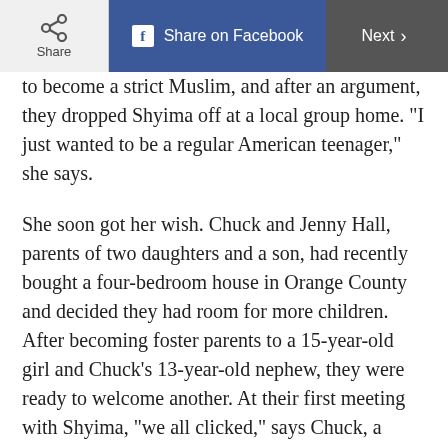Share | Share on Facebook | Next
to become a strict Muslim, and after an argument, they dropped Shyima off at a local group home. "I just wanted to be a regular American teenager," she says.
She soon got her wish. Chuck and Jenny Hall, parents of two daughters and a son, had recently bought a four-bedroom house in Orange County and decided they had room for more children. After becoming foster parents to a 15-year-old girl and Chuck’s 13-year-old nephew, they were ready to welcome another. At their first meeting with Shyima, “we all clicked,” says Chuck, a uniform company service manager. “She had the same